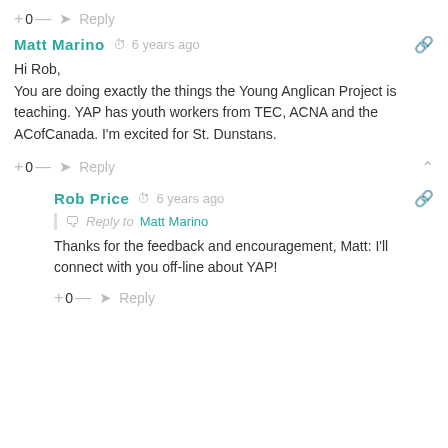+ 0 — → Reply
Matt Marino  6 years ago
Hi Rob,
You are doing exactly the things the Young Anglican Project is teaching. YAP has youth workers from TEC, ACNA and the ACofCanada. I'm excited for St. Dunstans.
+ 0 — → Reply
Rob Price  6 years ago
Reply to Matt Marino
Thanks for the feedback and encouragement, Matt: I'll connect with you off-line about YAP!
+ 0 — → Reply